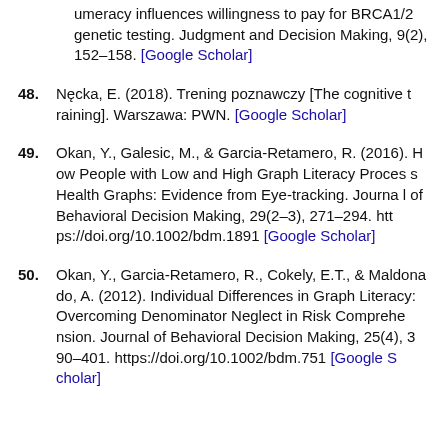umeracy influences willingness to pay for BRCA1/2 genetic testing. Judgment and Decision Making, 9(2), 152–158. [Google Scholar]
48. Nęcka, E. (2018). Trening poznawczy [The cognitive training]. Warszawa: PWN. [Google Scholar]
49. Okan, Y., Galesic, M., & Garcia-Retamero, R. (2016). How People with Low and High Graph Literacy Process Health Graphs: Evidence from Eye-tracking. Journal of Behavioral Decision Making, 29(2–3), 271–294. https://doi.org/10.1002/bdm.1891 [Google Scholar]
50. Okan, Y., Garcia-Retamero, R., Cokely, E.T., & Maldonado, A. (2012). Individual Differences in Graph Literacy: Overcoming Denominator Neglect in Risk Comprehension. Journal of Behavioral Decision Making, 25(4), 390–401. https://doi.org/10.1002/bdm.751 [Google Scholar]